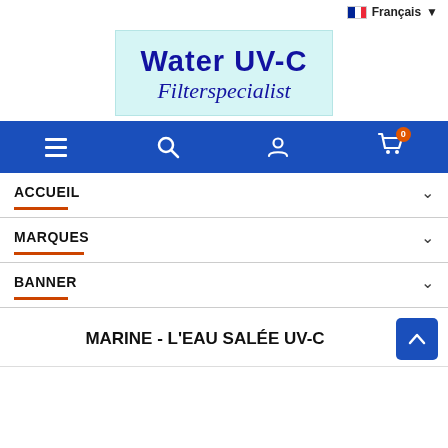Français ▼
[Figure (logo): Water UV-C Filterspecialist logo on light cyan background]
[Figure (screenshot): Navigation bar with hamburger menu, search, user, and cart icons on blue background]
ACCUEIL
MARQUES
BANNER
MARINE - L'EAU SALÉE UV-C